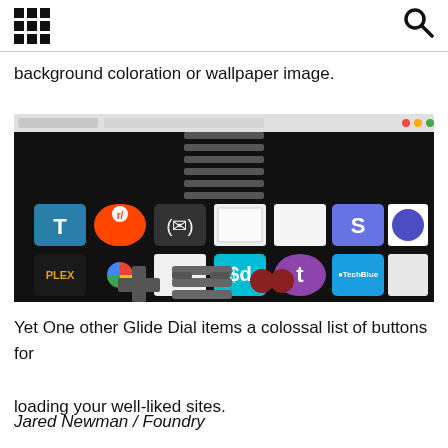[grid icon] [search icon]
background coloration or wallpaper image.
[Figure (screenshot): Screenshot of a browser tab showing a dark-themed new tab page (Glide Dial) with a grid of website shortcut icons including Plex, Reddit, Google Photos, speedtest, and others, plus a NES-controller style navigation panel at the bottom center.]
Yet One other Glide Dial items a colossal list of buttons for loading your well-liked sites.
Jared Newman / Foundry